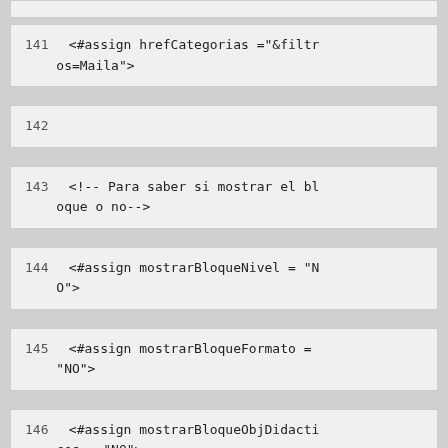141    <#assign hrefCategorias ="&filtros=Maila">
142
143    <!-- Para saber si mostrar el bloque o no-->
144    <#assign mostrarBloqueNivel = "NO">
145    <#assign mostrarBloqueFormato = "NO">
146    <#assign mostrarBloqueObjDidacticos = "NO">